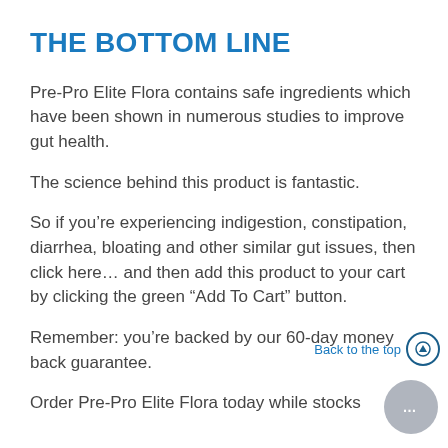THE BOTTOM LINE
Pre-Pro Elite Flora contains safe ingredients which have been shown in numerous studies to improve gut health.
The science behind this product is fantastic.
So if you’re experiencing indigestion, constipation, diarrhea, bloating and other similar gut issues, then click here… and then add this product to your cart by clicking the green “Add To Cart” button.
Remember: you’re backed by our 60-day money back guarantee.
Order Pre-Pro Elite Flora today while stocks